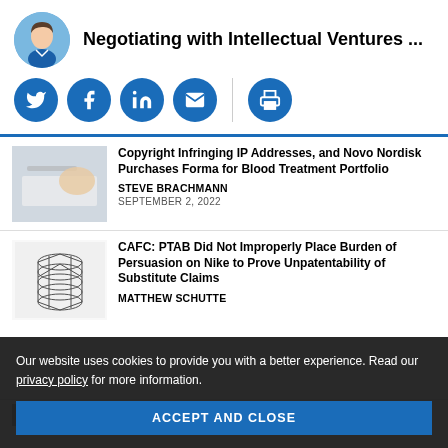Negotiating with Intellectual Ventures ...
[Figure (illustration): Row of social sharing icons: Twitter, Facebook, LinkedIn, Email, Print on blue circular buttons]
[Figure (photo): Partial article thumbnail showing hands with document]
Copyright Infringing IP Addresses, and Novo Nordisk Purchases Forma for Blood Treatment Portfolio
STEVE BRACHMANN
SEPTEMBER 2, 2022
[Figure (illustration): Geometric wireframe coil/spring structure thumbnail image]
CAFC: PTAB Did Not Improperly Place Burden of Persuasion on Nike to Prove Unpatentability of Substitute Claims
MATTHEW SCHUTTE
Our website uses cookies to provide you with a better experience. Read our privacy policy for more information.
ACCEPT AND CLOSE
[Figure (photo): Partial article thumbnail at bottom]
Eliminating the I...